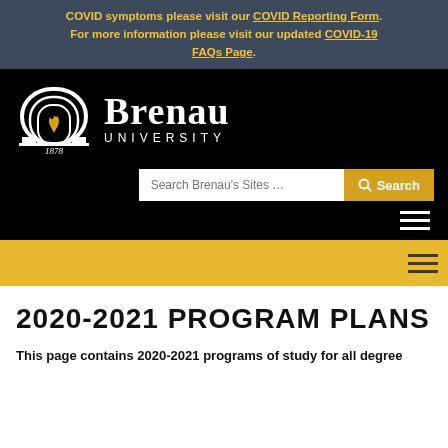COVID symptoms please visit our COVID Reporting Form. For more information please visit our updated COVID-19 FAQs Page.
[Figure (logo): Brenau University logo: white arch with flame and '1878', beside 'Brenau University' text in white on black background]
2020-2021 PROGRAM PLANS
This page contains 2020-2021 programs of study for all degree